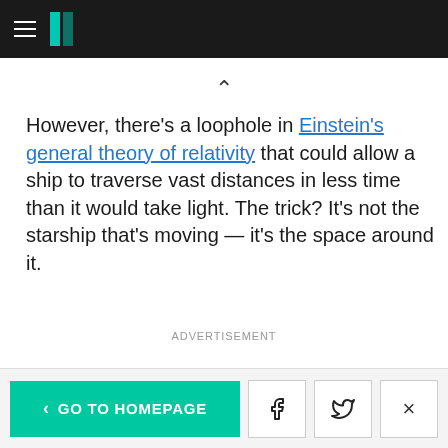HuffPost navigation bar with hamburger menu and logo
However, there's a loophole in Einstein's general theory of relativity that could allow a ship to traverse vast distances in less time than it would take light. The trick? It's not the starship that's moving — it's the space around it.
ADVERTISEMENT
< GO TO HOMEPAGE | Facebook | Twitter | X